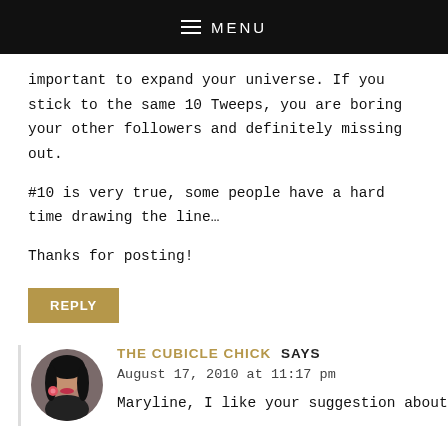≡ MENU
important to expand your universe. If you stick to the same 10 Tweeps, you are boring your other followers and definitely missing out.
#10 is very true, some people have a hard time drawing the line...
Thanks for posting!
REPLY
THE CUBICLE CHICK SAYS
August 17, 2010 at 11:17 pm
Maryline, I like your suggestion about